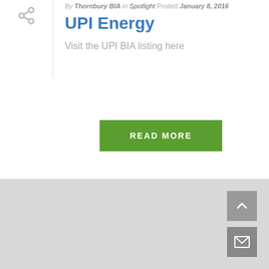By Thornbury BIA in Spotlight Posted January 8, 2016
UPI Energy
Visit the UPI BIA listing here
READ MORE
[Figure (map): Gray map area representing a geographic map placeholder]
[Figure (other): Scroll to top arrow button (gray)]
[Figure (other): Email/envelope button (gray)]